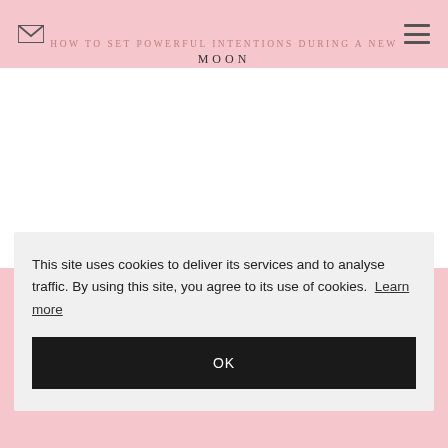HOW TO SET POWERFUL INTENTIONS DURING A NEW MOON
[Figure (screenshot): White content area below the page header, representing the webpage body background]
This site uses cookies to deliver its services and to analyse traffic. By using this site, you agree to its use of cookies. Learn more
OK